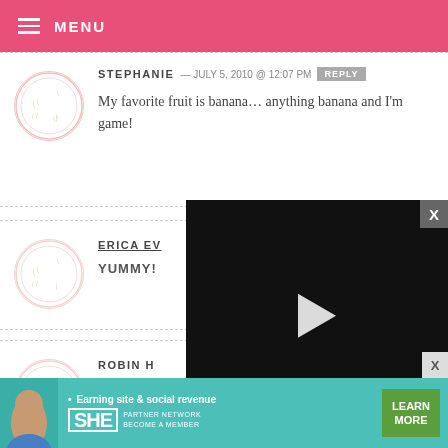MENU
STEPHANIE — JULY 5, 2010 @ 12:07 PM
My favorite fruit is banana… anything banana and I'm game!
ERICA EV…
YUMMY!
[Figure (screenshot): Video player overlay showing a paused video with play button, progress bar at 13:52, CC button, grid button, settings icon, and fullscreen icon]
ROBIN H…
Peach is my favorite! Those look so
[Figure (infographic): SHE Partner Network advertisement banner with teal background: Earning site & social revenue, LEARN MORE button]